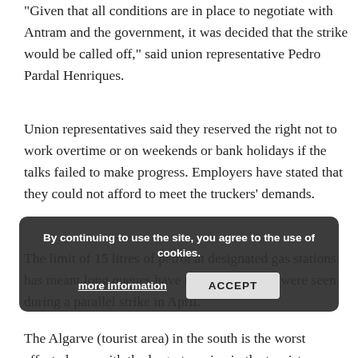“Given that all conditions are in place to negotiate with Antram and the government, it was decided that the strike would be called off,” said union representative Pedro Pardal Henriques.
Union representatives said they reserved the right not to work overtime or on weekends or bank holidays if the talks failed to make progress. Employers have stated that they could not afford to meet the truckers’ demands.
The limit of 15 litres of petrol at designated gas stations has meant long queues have been avoided, as were seen during a parallel strike in April.
The Algarve (tourist area) in the south is the worst affected area with the largest marina in the tourist
By continuing to use the site, you agree to the use of cookies.
more information
ACCEPT